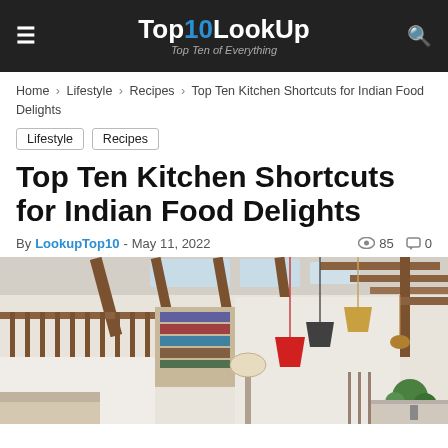Top10LookUp — Top Ten of Everything
Home › Lifestyle › Recipes › Top Ten Kitchen Shortcuts for Indian Food Delights
Lifestyle
Recipes
Top Ten Kitchen Shortcuts for Indian Food Delights
By LookupTop10 - May 11, 2022  85  0
[Figure (photo): Modern kitchen/living space interior with exposed wooden beam ceiling, colorful pendant lights (red, dark gray, golden), bookshelves on a mezzanine level, and a seating area below.]